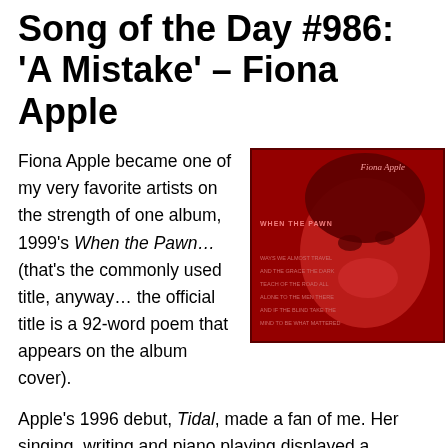Song of the Day #986: 'A Mistake' – Fiona Apple
Fiona Apple became one of my very favorite artists on the strength of one album, 1999's When the Pawn… (that's the commonly used title, anyway… the official title is a 92-word poem that appears on the album cover).
[Figure (photo): Album cover of Fiona Apple's 'When the Pawn' — a red-tinted image of Fiona Apple's face with the album title text and artist name visible.]
Apple's 1996 debut, Tidal, made a fan of me. Her singing, writing and piano playing displayed a maturity well beyond her 19 years. But even featuring such great songs as 'Shadowboxer,' 'Criminal' and 'Never is a Promise,' that